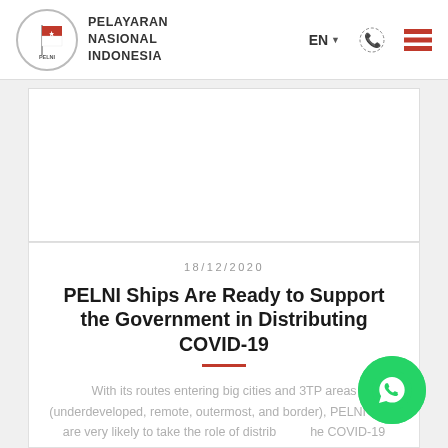[Figure (logo): PELNI (Pelayaran Nasional Indonesia) logo with flag icon in circle]
PELAYARAN NASIONAL INDONESIA — EN language selector, phone icon, hamburger menu
[Figure (photo): Gray/white banner area (placeholder image area)]
18/12/2020
PELNI Ships Are Ready to Support the Government in Distributing COVID-19
With its routes entering big cities and 3TP areas (underdeveloped, remote, outermost, and border), PELNI ships are very likely to take the role of distributing the COVID-19
See Detail